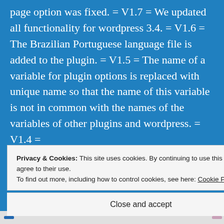page option was fixed. = V1.7 = We updated all functionality for wordpress 3.4. = V1.6 = The Brazilian Portuguese language file is added to the plugin. = V1.5 = The name of a variable for plugin options is replaced with unique name so that the name of this variable is not in common with the names of the variables of other plugins and wordpress. = V1.4 =
Privacy & Cookies: This site uses cookies. By continuing to use this website, you agree to their use.
To find out more, including how to control cookies, see here: Cookie Policy
Close and accept